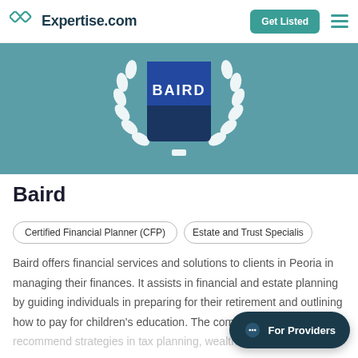Expertise.com | Get Listed
[Figure (logo): Baird company logo with laurel wreath on teal banner background]
Baird
Certified Financial Planner (CFP)
Estate and Trust Specialist
Baird offers financial services and solutions to clients in Peoria in managing their finances. It assists in financial and estate planning by guiding individuals in preparing for their retirement and outlining how to pay for children's education. The company can also recommend strategies in tax planning, wealth transfer,